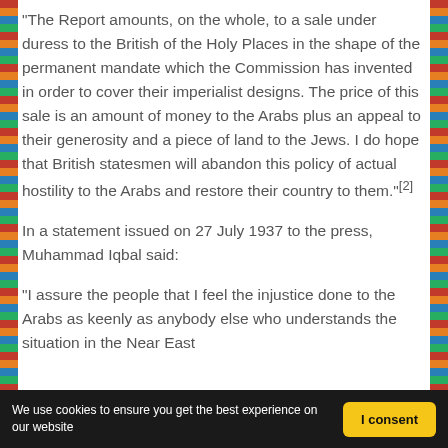"The Report amounts, on the whole, to a sale under duress to the British of the Holy Places in the shape of the permanent mandate which the Commission has invented in order to cover their imperialist designs. The price of this sale is an amount of money to the Arabs plus an appeal to their generosity and a piece of land to the Jews. I do hope that British statesmen will abandon this policy of actual hostility to the Arabs and restore their country to them."[2]
In a statement issued on 27 July 1937 to the press, Muhammad Iqbal said:
"I assure the people that I feel the injustice done to the Arabs as keenly as anybody else who understands the situation in the Near East
We use cookies to ensure you get the best experience on our website